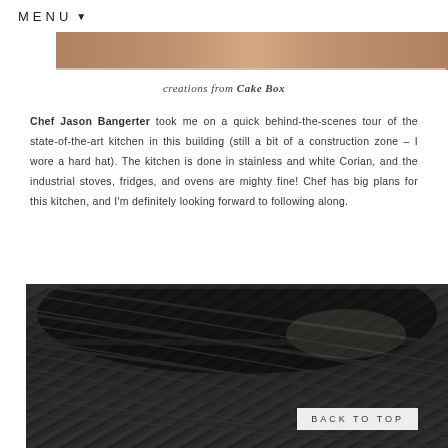MENU ▾
[Figure (photo): Close-up photo of a person in chef whites, cropped to show lower face/collar area]
creations from Cake Box
Chef Jason Bangerter took me on a quick behind-the-scenes tour of the state-of-the-art kitchen in this building (still a bit of a construction zone – I wore a hard hat). The kitchen is done in stainless and white Corian, and the industrial stoves, fridges, and ovens are mighty fine! Chef has big plans for this kitchen, and I'm definitely looking forward to following along.
[Figure (photo): Industrial kitchen ventilation hood and equipment, dark stainless steel, shot from below looking up]